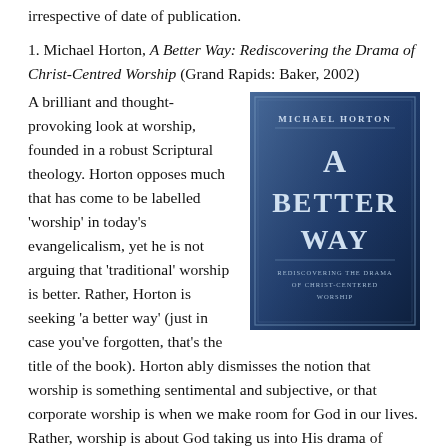irrespective of date of publication.
1. Michael Horton, A Better Way: Rediscovering the Drama of Christ-Centred Worship (Grand Rapids: Baker, 2002)
[Figure (photo): Book cover of 'A Better Way: Rediscovering the Drama of Christ-Centered Worship' by Michael Horton, with a blue gradient background and silver/white lettering.]
A brilliant and thought-provoking look at worship, founded in a robust Scriptural theology. Horton opposes much that has come to be labelled 'worship' in today's evangelicalism, yet he is not arguing that 'traditional' worship is better. Rather, Horton is seeking 'a better way' (just in case you've forgotten, that's the title of the book). Horton ably dismisses the notion that worship is something sentimental and subjective, or that corporate worship is when we make room for God in our lives. Rather, worship is about God taking us into His drama of redemption. Worship is objective; based on what